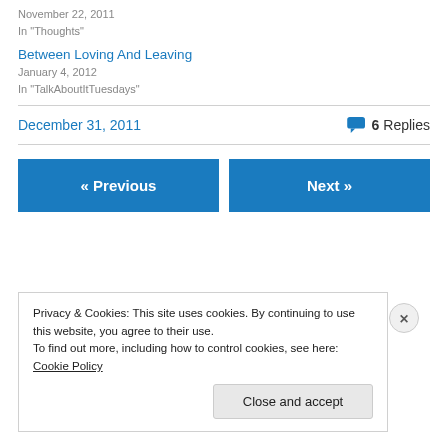November 22, 2011
In "Thoughts"
Between Loving And Leaving
January 4, 2012
In "TalkAboutItTuesdays"
December 31, 2011 · 6 Replies
« Previous
Next »
Privacy & Cookies: This site uses cookies. By continuing to use this website, you agree to their use. To find out more, including how to control cookies, see here: Cookie Policy
Close and accept